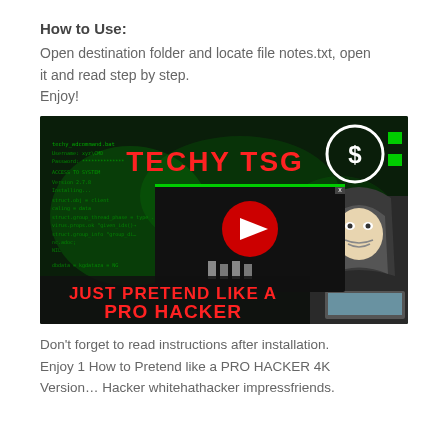How to Use:
Open destination folder and locate file notes.txt, open it and read step by step.
Enjoy!
[Figure (screenshot): YouTube video thumbnail showing 'TECHY TSG' channel with text 'JUST PRETEND LIKE A PRO HACKER' on a dark hacker-themed background with Anonymous mask figure, with a YouTube play button overlay in the center]
Don't forget to read instructions after installation. Enjoy 1 How to Pretend like a PRO HACKER 4K Version… Hacker whitehathacker impressfriends.